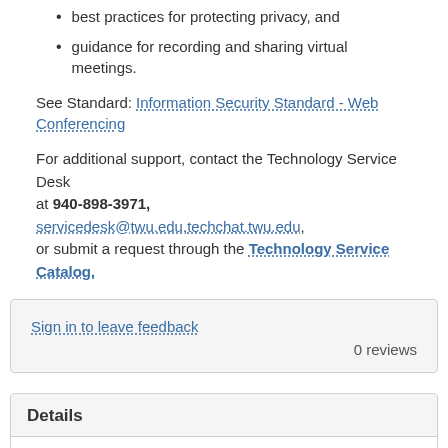best practices for protecting privacy, and
guidance for recording and sharing virtual meetings.
See Standard: Information Security Standard - Web Conferencing
For additional support, contact the Technology Service Desk at 940-898-3971, servicedesk@twu.edu, techchat.twu.edu, or submit a request through the Technology Service Catalog.
Sign in to leave feedback
0 reviews
Details
Article ID: 25249
Created
Tue 2/21/17 10:50 AM
Modified